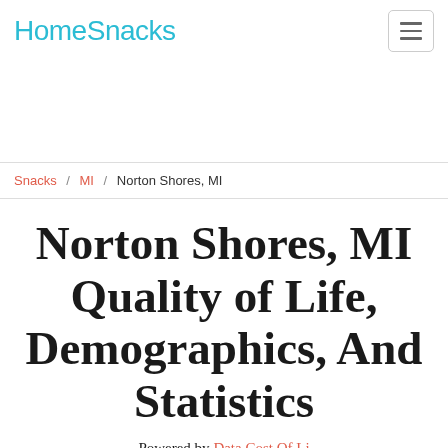HomeSnacks
Snacks / MI / Norton Shores, MI
Norton Shores, MI Quality of Life, Demographics, And Statistics